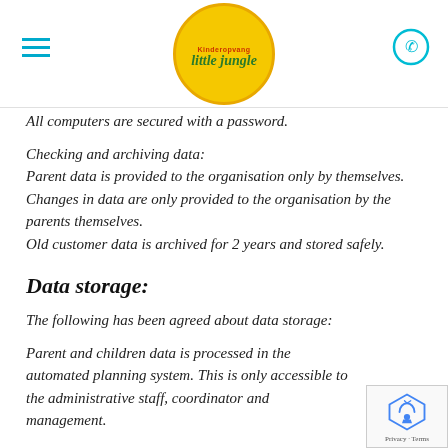Kinderopvang Little Jungle
All computers are secured with a password.
Checking and archiving data:
Parent data is provided to the organisation only by themselves. Changes in data are only provided to the organisation by the parents themselves.
Old customer data is archived for 2 years and stored safely.
Data storage:
The following has been agreed about data storage:
Parent and children data is processed in the automated planning system. This is only accessible to the administrative staff, coordinator and management.
Children data is carefully stored at the...